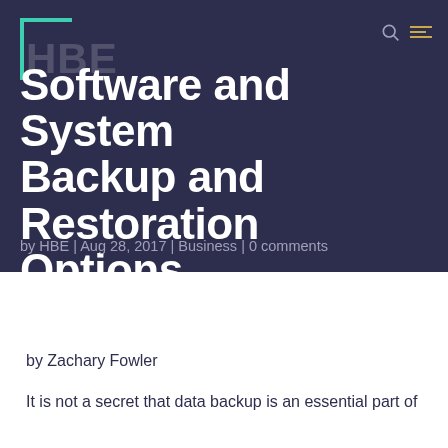Software and System Backup and Restoration Options
by HBE | Aug 28, 2017 | Business | 0 comments
by Zachary Fowler
It is not a secret that data backup is an essential part of